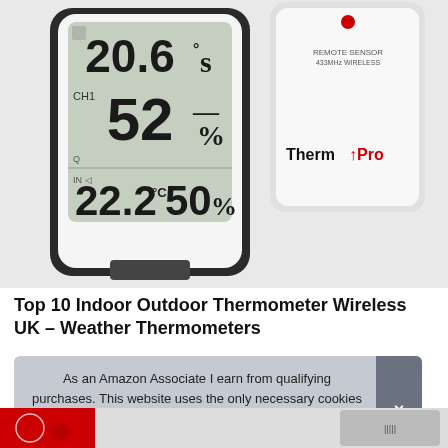[Figure (photo): ThermoPro indoor outdoor wireless thermometer with LCD display showing 20.6°C, 52% humidity, and sensor reading 22.2°C 50%, alongside a white wireless remote sensor unit labeled 'Remote Sensor 433MHz Wireless' and 'ThermoPro']
Top 10 Indoor Outdoor Thermometer Wireless UK – Weather Thermometers
As an Amazon Associate I earn from qualifying purchases. This website uses the only necessary cookies to ensure you get the best experience on our website. More information
[Figure (photo): Bottom strip showing red and grey portions of product images]